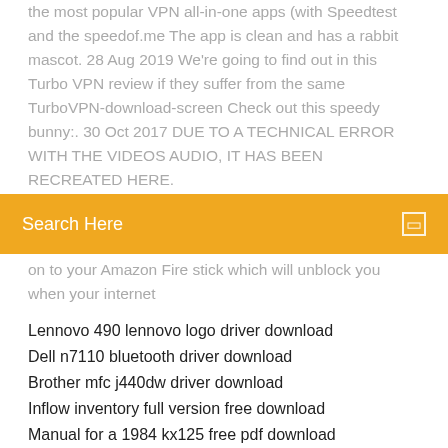the most popular VPN all-in-one apps (with Speedtest and the speedof.me The app is clean and has a rabbit mascot. 28 Aug 2019 We're going to find out in this Turbo VPN review if they suffer from the same TurboVPN-download-screen Check out this speedy bunny:. 30 Oct 2017 DUE TO A TECHNICAL ERROR WITH THE VIDEOS AUDIO, IT HAS BEEN RECREATED HERE.
Search Here
on to your Amazon Fire stick which will unblock you when your internet
Lennovo 490 lennovo logo driver download
Dell n7110 bluetooth driver download
Brother mfc j440dw driver download
Inflow inventory full version free download
Manual for a 1984 kx125 free pdf download
Download digicoin blockcain file
Guitarradas 28 sucessos download convert mo3
Qualcomm atheros ar956x windows 10 driver download